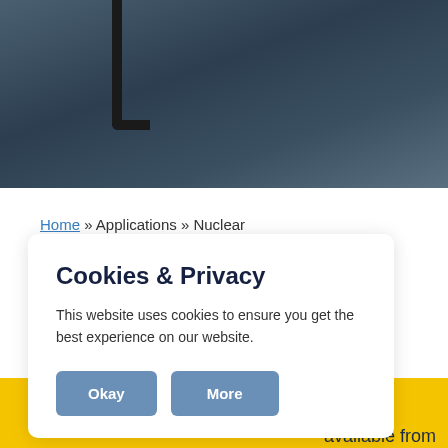[Figure (photo): Dark blue-grey hero image with a dark hook/bracket shape visible at the top left, resembling industrial or nuclear equipment]
Home » Applications » Nuclear
Cookies & Privacy
This website uses cookies to ensure you get the best experience on our website.
Okay | More
available from
onel® 617